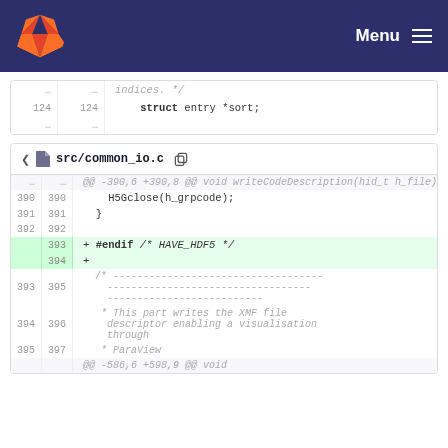Menu
124  124      struct entry *sort;
src/common_io.c
@@ -390,6 +390,8 @@ void writeCodeDescription(hid_t h_file) {
390  390    H5Gclose(h_grpcode);
391  391  }
392  392
393      + #endif /* HAVE_HDF5 */
394      +
393  395    /* ---...
394  396    * This part writes the XMF file descriptor enabling a visualisation through
395  397    * ParaView
     @@ -586,6 +598,9 @@ void